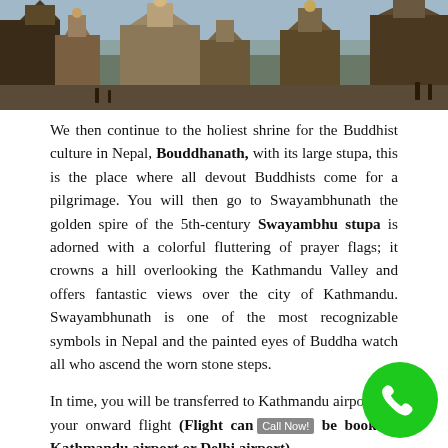[Figure (photo): Photo of Buddhist temple spires and stupas in Kathmandu, Nepal]
We then continue to the holiest shrine for the Buddhist culture in Nepal, Bouddhanath, with its large stupa, this is the place where all devout Buddhists come for a pilgrimage. You will then go to Swayambhunath the golden spire of the 5th-century Swayambhu stupa is adorned with a colorful fluttering of prayer flags; it crowns a hill overlooking the Kathmandu Valley and offers fantastic views over the city of Kathmandu. Swayambhunath is one of the most recognizable symbols in Nepal and the painted eyes of Buddha watch all who ascend the worn stone steps.
In time, you will be transferred to Kathmandu airport for your onward flight (Flight can be booked from Kathmandu airport or Delhi airport)